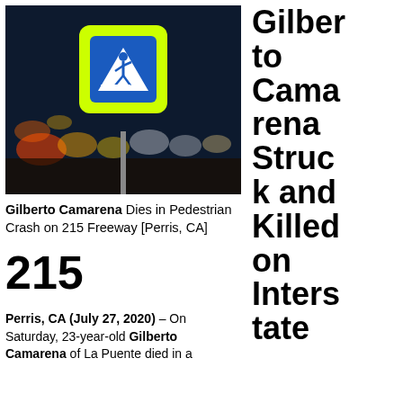[Figure (photo): Nighttime street scene with a pedestrian crossing sign in the foreground. The sign has a yellow-green border with a blue square containing a white walking figure icon above white stripes. City lights are blurred in the background.]
Gilberto Camarena Dies in Pedestrian Crash on 215 Freeway [Perris, CA]
Gilberto Camarena Struck and Killed on Interstate 215
215
Perris, CA (July 27, 2020) – On Saturday, 23-year-old Gilberto Camarena of La Puente died in a